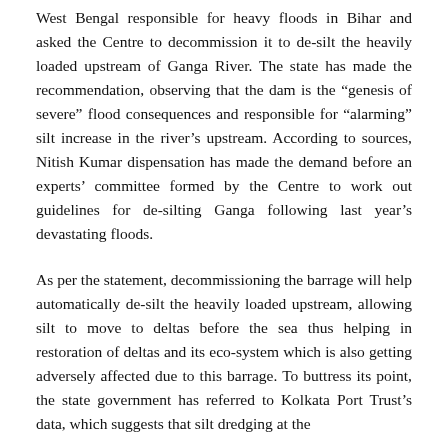West Bengal responsible for heavy floods in Bihar and asked the Centre to decommission it to de-silt the heavily loaded upstream of Ganga River. The state has made the recommendation, observing that the dam is the “genesis of severe” flood consequences and responsible for “alarming” silt increase in the river’s upstream. According to sources, Nitish Kumar dispensation has made the demand before an experts’ committee formed by the Centre to work out guidelines for de-silting Ganga following last year’s devastating floods.
As per the statement, decommissioning the barrage will help automatically de-silt the heavily loaded upstream, allowing silt to move to deltas before the sea thus helping in restoration of deltas and its eco-system which is also getting adversely affected due to this barrage. To buttress its point, the state government has referred to Kolkata Port Trust’s data, which suggests that silt dredging at the